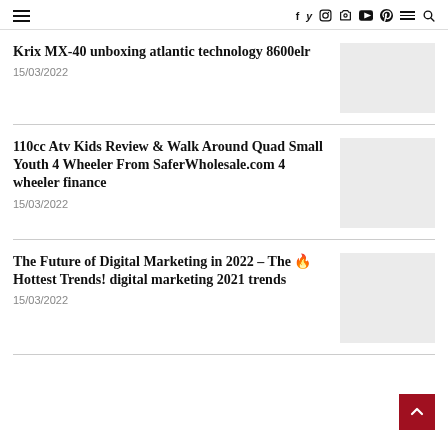≡  f y instagram pinterest youtube snapchat ≡ 🔍
Krix MX-40 unboxing atlantic technology 8600elr
15/03/2022
[Figure (photo): Thumbnail image placeholder for article 1]
110cc Atv Kids Review & Walk Around Quad Small Youth 4 Wheeler From SaferWholesale.com 4 wheeler finance
15/03/2022
[Figure (photo): Thumbnail image placeholder for article 2]
The Future of Digital Marketing in 2022 – The 🔥 Hottest Trends! digital marketing 2021 trends
15/03/2022
[Figure (photo): Thumbnail image placeholder for article 3]